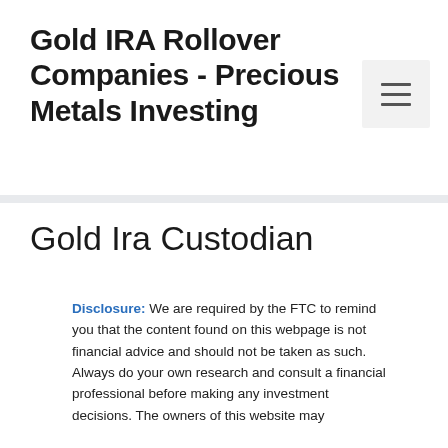Gold IRA Rollover Companies - Precious Metals Investing
Gold Ira Custodian
Disclosure: We are required by the FTC to remind you that the content found on this webpage is not financial advice and should not be taken as such. Always do your own research and consult a financial professional before making any investment decisions. The owners of this website may